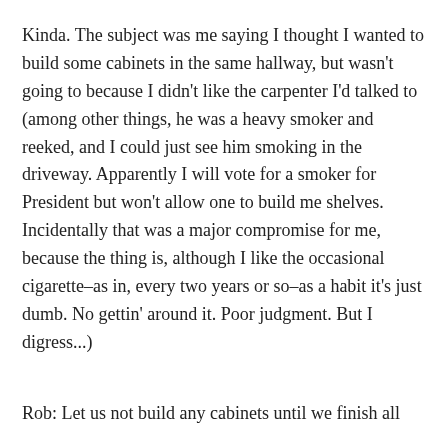Kinda. The subject was me saying I thought I wanted to build some cabinets in the same hallway, but wasn't going to because I didn't like the carpenter I'd talked to (among other things, he was a heavy smoker and reeked, and I could just see him smoking in the driveway. Apparently I will vote for a smoker for President but won't allow one to build me shelves. Incidentally that was a major compromise for me, because the thing is, although I like the occasional cigarette–as in, every two years or so–as a habit it's just dumb. No gettin' around it. Poor judgment. But I digress...)
Rob: Let us not build any cabinets until we finish all